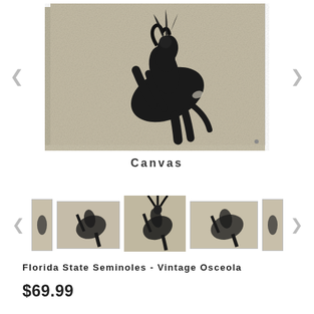[Figure (photo): Main product image of Florida State Seminoles Vintage Osceola canvas art — a warrior on a rearing horse in dark charcoal style on a mottled beige/grey background, displayed as a canvas print with visible edges. Navigation arrows on left and right.]
Canvas
[Figure (photo): Thumbnail carousel of the Osceola canvas product in different sizes/orientations. Five thumbnails visible (two partially cut off on edges), with the center one highlighted/selected. Left and right navigation arrows flank the carousel.]
Florida State Seminoles - Vintage Osceola
$69.99